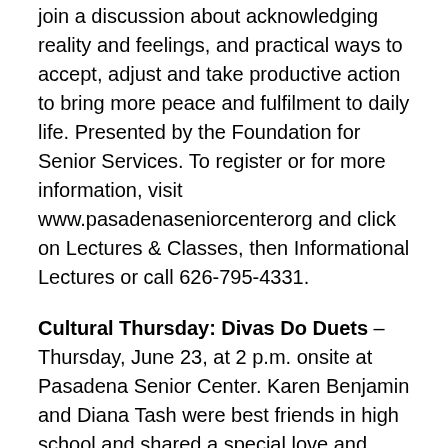join a discussion about acknowledging reality and feelings, and practical ways to accept, adjust and take productive action to bring more peace and fulfilment to daily life. Presented by the Foundation for Senior Services. To register or for more information, visit www.pasadenaseniorcenter.org and click on Lectures & Classes, then Informational Lectures or call 626-795-4331.
Cultural Thursday: Divas Do Duets – Thursday, June 23, at 2 p.m. onsite at Pasadena Senior Center. Karen Benjamin and Diana Tash were best friends in high school and shared a special love and talent for singing. Their respective performance paths diverged, with Karen going to Broadway and Diana to opera. Now, 40 years later, they will come together once again to perform a program of duets from Broadway and the classical world. To register or for more information, visit www.pasadenaseniorcenter.org and click on Activities